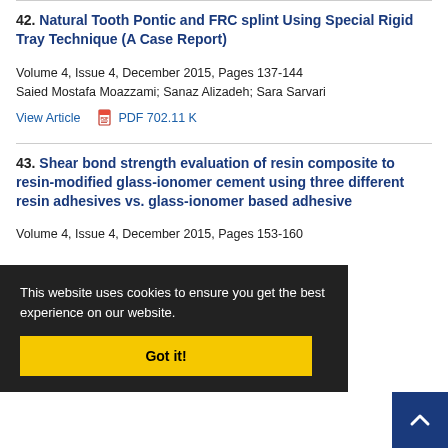42. Natural Tooth Pontic and FRC splint Using Special Rigid Tray Technique (A Case Report)
Volume 4, Issue 4, December 2015, Pages 137-144
Saied Mostafa Moazzami; Sanaz Alizadeh; Sara Sarvari
View Article   PDF 702.11 K
43. Shear bond strength evaluation of resin composite to resin-modified glass-ionomer cement using three different resin adhesives vs. glass-ionomer based adhesive
Volume 4, Issue 4, December 2015, Pages 153-160
This website uses cookies to ensure you get the best experience on our website.
Got it!